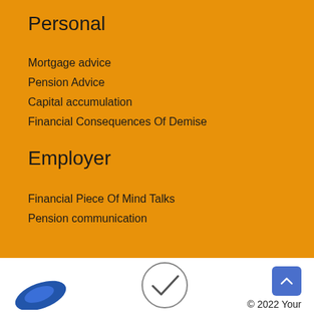Personal
Mortgage advice
Pension Advice
Capital accumulation
Financial Consequences Of Demise
Employer
Financial Piece Of Mind Talks
Pension communication
© 2022 Your